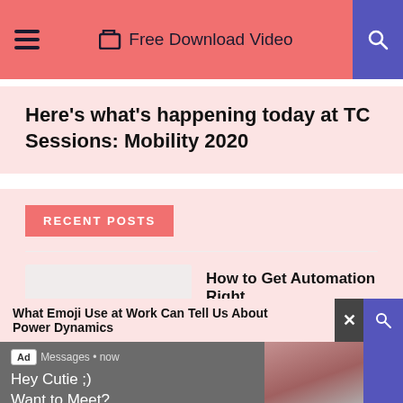Free Download Video
Here’s what’s happening today at TC Sessions: Mobility 2020
RECENT POSTS
How to Get Automation Right
What Emoji Use at Work Can Tell Us About Power Dynamics
Ad  Messages • now
Hey Cutie ;)
Want to Meet?